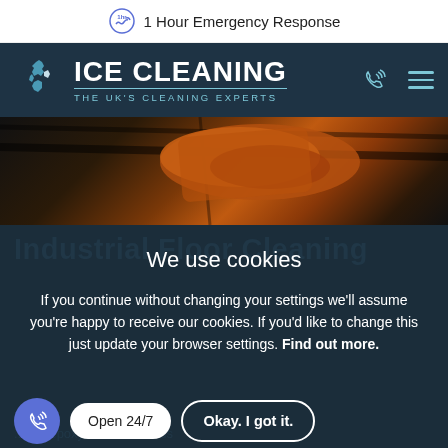1 Hour Emergency Response
[Figure (logo): ICE CLEANING - THE UK'S CLEANING EXPERTS logo with UK map icon on dark navy background]
[Figure (photo): Dark industrial scene with orange material/tarp visible overhead]
We use cookies
If you continue without changing your settings we'll assume you're happy to receive our cookies. If you'd like to change this just update your browser settings. Find out more.
Open 24/7
Okay. I got it.